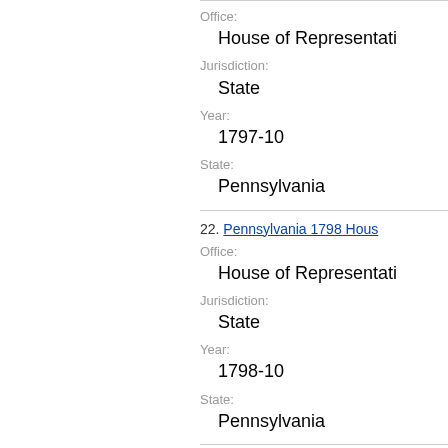Office: House of Representatives
Jurisdiction: State
Year: 1797-10
State: Pennsylvania
22. Pennsylvania 1798 House of Representatives
Office: House of Representatives
Jurisdiction: State
Year: 1798-10
State: Pennsylvania